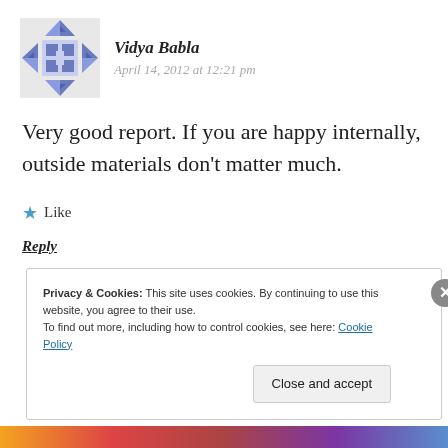Vidya Babla
April 14, 2012 at 12:21 pm
Very good report. If you are happy internally, outside materials don't matter much.
★ Like
Reply
Privacy & Cookies: This site uses cookies. By continuing to use this website, you agree to their use.
To find out more, including how to control cookies, see here: Cookie Policy
Close and accept